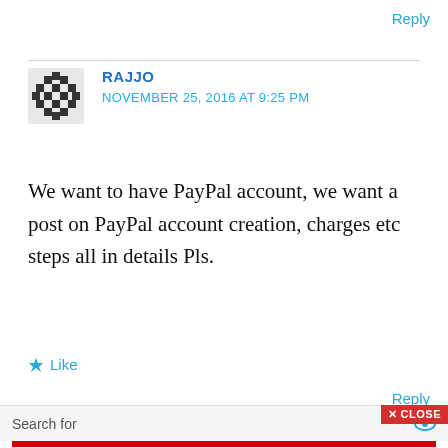Reply
RAJJO
NOVEMBER 25, 2016 AT 9:25 PM
We want to have PayPal account, we want a post on PayPal account creation, charges etc steps all in details Pls.
Like
Reply
Search for
✕ CLOSE
Advertisements
[Figure (infographic): Macy's advertisement: KISS BORING LIPS GOODBYE with SHOP NOW button and Macy's star logo on red background with woman's face]